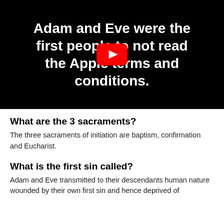[Figure (screenshot): Black video thumbnail with white bold text reading 'Adam and Eve were the first people to not read the Apple terms and conditions.' with a YouTube play button overlay in the center.]
What are the 3 sacraments?
The three sacraments of initiation are baptism, confirmation and Eucharist.
What is the first sin called?
Adam and Eve transmitted to their descendants human nature wounded by their own first sin and hence deprived of original holiness and justice; this deprivation is called original sin.